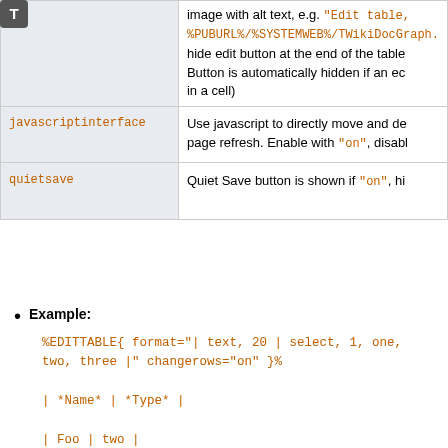| Parameter | Description |
| --- | --- |
|  | image with alt text, e.g. "Edit table, %PUBURL%/%SYSTEMWEB%/TWikiDocGraph..."
hide edit button at the end of the table.
Button is automatically hidden if an ec... in a cell) |
| javascriptinterface | Use javascript to directly move and de... page refresh. Enable with "on", disabl... |
| quietsave | Quiet Save button is shown if "on", hi... |
Example:
%EDITTABLE{ format="| text, 20 | select, 1, one, two, three |" changerows="on" }%
| *Name* | *Type* |
| Foo | two |
Category: DatabaseAndFormsVariables, EditingAndContentUpdateVariables, TablesAndSpreadsheetsVariables
Related: See EditTablePlugin for more details (this topic)